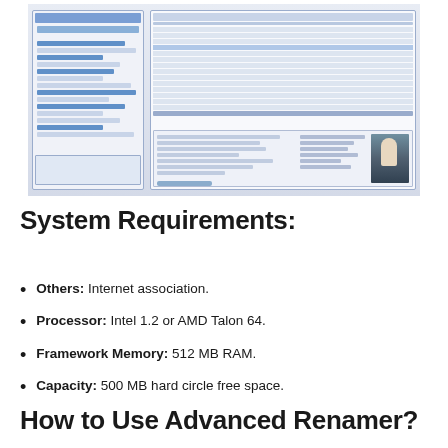[Figure (screenshot): Screenshot of Advanced Renamer software showing a file renaming application with a left navigation panel and a right panel listing image files with columns for filename, new filename, error, and path. A preview pane at the bottom shows file metadata and a thumbnail of a tower/monument photo.]
System Requirements:
Others: Internet association.
Processor: Intel 1.2 or AMD Talon 64.
Framework Memory: 512 MB RAM.
Capacity: 500 MB hard circle free space.
How to Use Advanced Renamer?